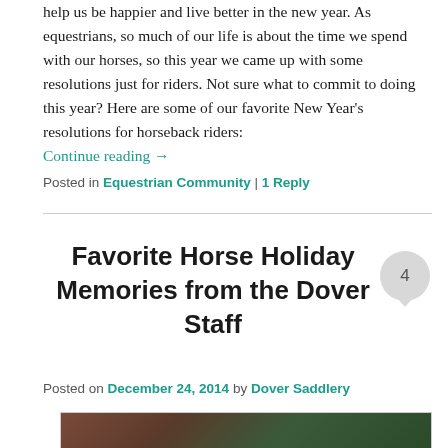help us be happier and live better in the new year. As equestrians, so much of our life is about the time we spend with our horses, so this year we came up with some resolutions just for riders. Not sure what to commit to doing this year? Here are some of our favorite New Year's resolutions for horseback riders:
Continue reading →
Posted in Equestrian Community | 1 Reply
Favorite Horse Holiday Memories from the Dover Staff
Posted on December 24, 2014 by Dover Saddlery
[Figure (photo): Partial view of a holiday-themed horse photo at the bottom of the page]